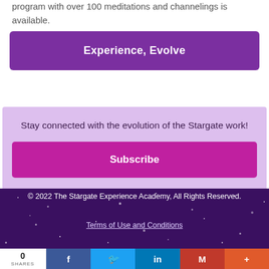program with over 100 meditations and channelings is available.
[Figure (other): Purple button with white bold text reading 'Experience, Evolve']
Stay connected with the evolution of the Stargate work!
[Figure (other): Magenta/pink button with white bold text reading 'Subscribe']
© 2022 The Stargate Experience Academy, All Rights Reserved.
Terms of Use and Conditions
[Figure (infographic): Social share bar showing 0 SHARES, Facebook, Twitter, LinkedIn, Gmail, and More buttons]